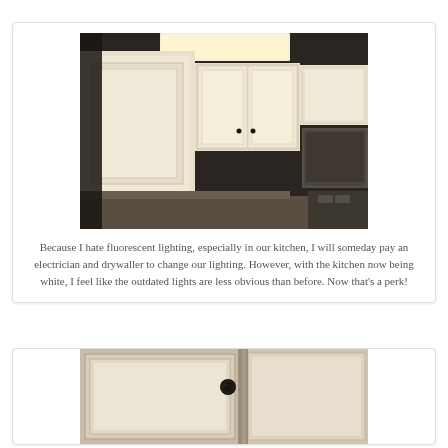[Figure (photo): Looking up at white kitchen cabinets with raised-panel doors and small black knobs. A fluorescent light fixture is visible in the upper portion of the image. Dark countertop and appliances visible at the bottom.]
Because I hate fluorescent lighting, especially in our kitchen, I will someday pay an electrician and drywaller to change our lighting. However, with the kitchen now being white, I feel like the outdated lights are less obvious than before. Now that's a perk!
[Figure (photo): Close-up of a white painted cabinet door with raised-panel detail and a black round cabinet knob, showing the freshly painted surface.]